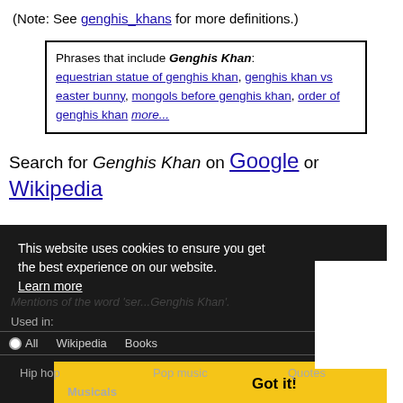(Note: See genghis_khans for more definitions.)
Phrases that include Genghis Khan: equestrian statue of genghis khan, genghis khan vs easter bunny, mongols before genghis khan, order of genghis khan more...
Search for Genghis Khan on Google or Wikipedia
This website uses cookies to ensure you get the best experience on our website.
Learn more
Mentions of the word 'ser...Genghis Khan'
Used in:
All   Wikipedia   Books   Hip hop   Pop music   Quotes   Musicals
Got it!